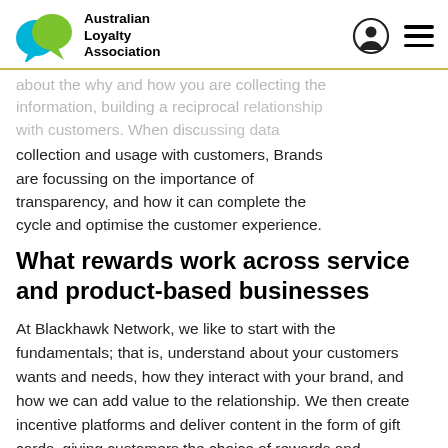Australian Loyalty Association
about the why and how you are collecting the information, building a reciprocal relationship with customers. When discussing data collection and usage with customers, Brands are focussing on the importance of transparency, and how it can complete the cycle and optimise the customer experience.
What rewards work across service and product-based businesses
At Blackhawk Network, we like to start with the fundamentals; that is, understand about your customers wants and needs, how they interact with your brand, and how we can add value to the relationship. We then create incentive platforms and deliver content in the form of gift cards, giving customers the choice of rewards and incentives that best suits them, and are aligned to the brand. We know